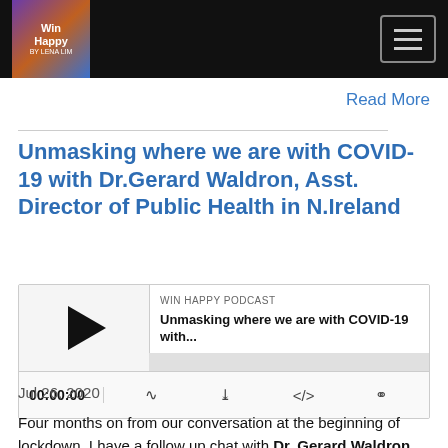[Figure (logo): Win Happy podcast logo with navigation bar and hamburger menu icon]
Read More
Unmasking where we are with COVID-19 with Dr.Gerard Waldron, Asst. Director of Public Health in N.Ireland
[Figure (screenshot): Podcast player widget for WIN HAPPY PODCAST episode: Unmasking where we are with COVID-19 with... showing 00:00:00 timestamp and player controls]
Jul 26, 2020
Four months on from our conversation at the beginning of lockdown, I have a follow up chat with Dr. Gerard Waldron, Assistant Director of Public Health in Northern Ireland to see what has changed, what have we learnt, is this what he expected and what is needed to get control of Covid-19.